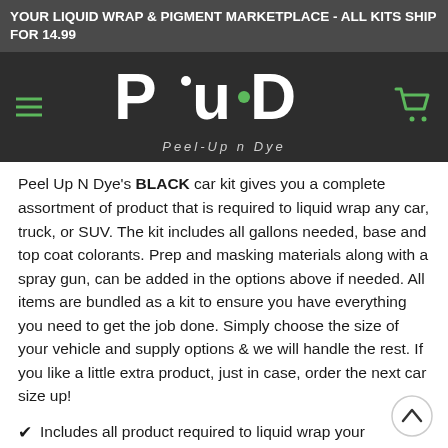YOUR LIQUID WRAP & PIGMENT MARKETPLACE - ALL KITS SHIP FOR 14.99
[Figure (logo): Peel-Up n Dye logo with hamburger menu icon on left and cart icon on right, white text on dark background]
Peel Up N Dye's BLACK car kit gives you a complete assortment of product that is required to liquid wrap any car, truck, or SUV. The kit includes all gallons needed, base and top coat colorants. Prep and masking materials along with a spray gun, can be added in the options above if needed. All items are bundled as a kit to ensure you have everything you need to get the job done. Simply choose the size of your vehicle and supply options & we will handle the rest. If you like a little extra product, just in case, order the next car size up!
Includes all product required to liquid wrap your